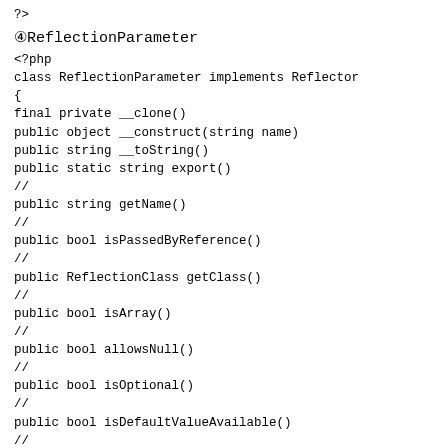?>
④ReflectionParameter
<?php
class ReflectionParameter implements Reflector
{
final private __clone()
public object __construct(string name)
public string __toString()
public static string export()
//　　　　　　　　　　
public string getName()
//　　　　　
public bool isPassedByReference()
//　　　　　　　　　　　　　　
public ReflectionClass getClass()
//　　　　　　　　　　　　　　　
public bool isArray()
//　　　　　　　　　　　　
public bool allowsNull()
//　　　　　　　　　　　
public bool isOptional()
//　　　　　　　　　　　　　　　　　　　
public bool isDefaultValueAvailable()
//　　　　　　　　　　　
public mixed getDefaultValue()
//　　　　　　　　
}
?>